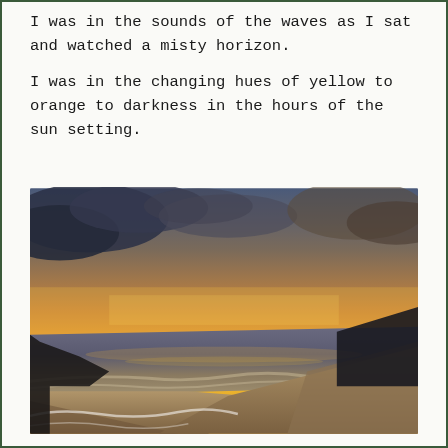I was in the sounds of the waves as I sat and watched a misty horizon.
I was in the changing hues of yellow to orange to darkness in the hours of the sun setting.
[Figure (photo): A beach sunset photograph showing the shoreline with waves lapping the sand, a dramatic sky with orange and golden hues transitioning to dark clouds, and the curve of the beach receding into the distance.]